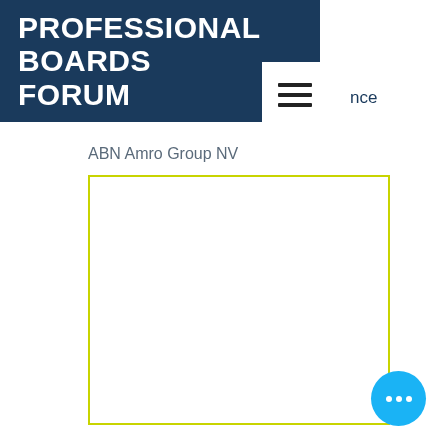PROFESSIONAL BOARDS FORUM
nce
ABN Amro Group NV
[Figure (other): Empty content box with yellow-green border]
[Figure (other): Blue circular more/options button with three white dots]